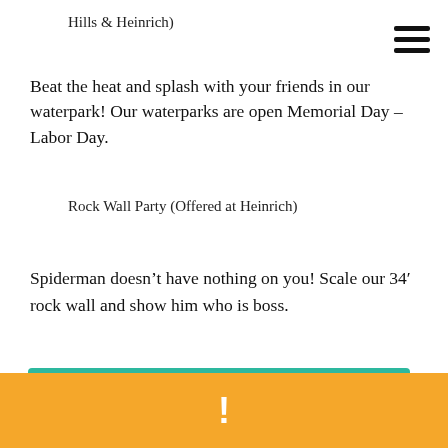Hills & Heinrich)
Beat the heat and splash with your friends in our waterpark! Our waterparks are open Memorial Day – Labor Day.
Rock Wall Party (Offered at Heinrich)
Spiderman doesn't have nothing on you! Scale our 34' rock wall and show him who is boss.
VIEW OUR BIRTHDAY PARTIES FLYER
[Figure (other): Orange/yellow banner block with exclamation mark icon]